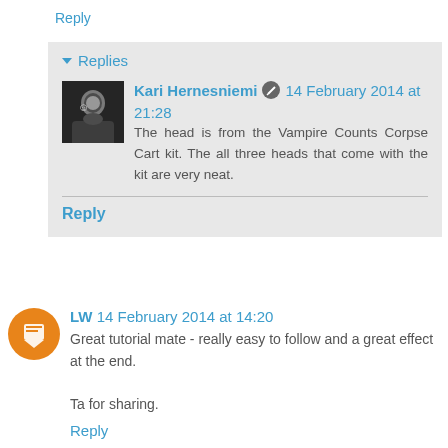Reply
▾ Replies
Kari Hernesniemi ✎ 14 February 2014 at 21:28
The head is from the Vampire Counts Corpse Cart kit. The all three heads that come with the kit are very neat.
Reply
LW 14 February 2014 at 14:20
Great tutorial mate - really easy to follow and a great effect at the end.

Ta for sharing.
Reply